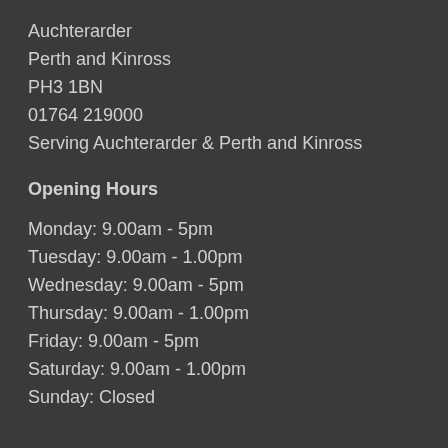Auchterarder
Perth and Kinross
PH3 1BN
01764 219000
Serving Auchterarder & Perth and Kinross
Opening Hours
Monday: 9.00am - 5pm
Tuesday: 9.00am - 1.00pm
Wednesday: 9.00am - 5pm
Thursday: 9.00am - 1.00pm
Friday: 9.00am - 5pm
Saturday: 9.00am - 1.00pm
Sunday: Closed